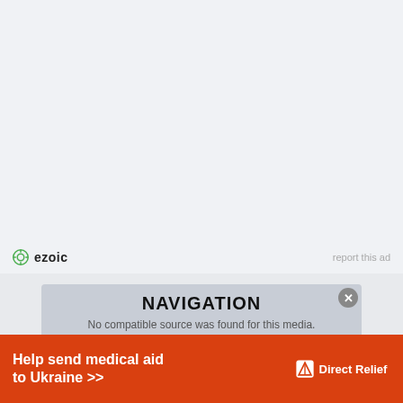[Figure (other): Ezoic ad placeholder area — large white/light gray blank ad space with Ezoic branding at bottom showing logo and 'report this ad' text]
ezoic
report this ad
NAVIGATION
No compatible source was found for this media.
Home
[Figure (other): Direct Relief donation banner advertisement: orange background with text 'Help send medical aid to Ukraine >>' and Direct Relief logo]
Help send medical aid to Ukraine >>